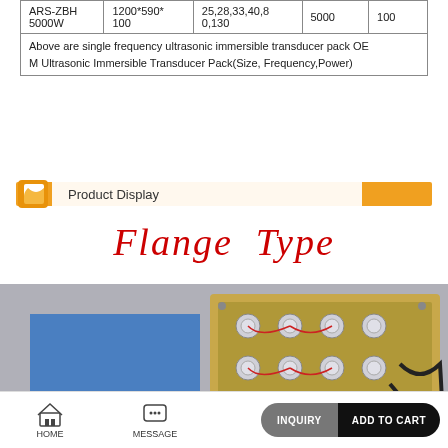|  |  |  |  |  |  |
| --- | --- | --- | --- | --- | --- |
| ARS-ZBH
5000W | 1200*590*
100 | 25,28,33,40,80,130 | 5000 | 100 |
| Above are single frequency ultrasonic immersible transducer pack OEM Ultrasonic Immersible Transducer Pack(Size, Frequency,Power) |  |  |  |  |
Product Display
Flange Type
[Figure (photo): Product display photo showing a flange type ultrasonic immersible transducer pack - a rectangular metal plate with multiple ultrasonic transducers mounted on it with wiring, alongside a blue flat panel.]